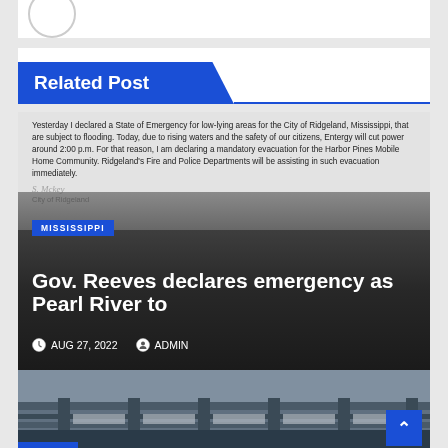Related Post
[Figure (screenshot): News card with document image overlay showing an emergency declaration letter, with dark overlay containing title text 'Gov. Reeves declares emergency as Pearl River to', badge 'MISSISSIPPI', date 'AUG 27, 2022', and author 'ADMIN']
Yesterday I declared a State of Emergency for low-lying areas for the City of Ridgeland, Mississippi, that are subject to flooding. Today, due to rising waters and the safety of our citizens, Entergy will cut power around 2:00 p.m. For that reason, I am declaring a mandatory evacuation for the Harbor Pines Mobile Home Community. Ridgeland's Fire and Police Departments will be assisting in such evacuation immediately.
Gov. Reeves declares emergency as Pearl River to
AUG 27, 2022   ADMIN
[Figure (photo): Photo of a bridge structure with metal beams and railings, dark overcast sky, blue tag at bottom left]